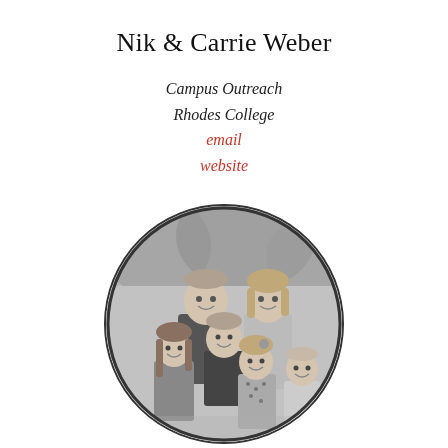Nik & Carrie Weber
Campus Outreach
Rhodes College
email
website
[Figure (photo): Black and white circular family portrait of Nik and Carrie Weber with their four children, posed outdoors with trees in background.]